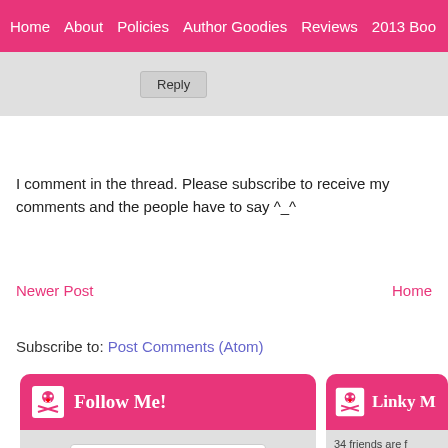Home | About | Policies | Author Goodies | Reviews | 2013 Boo...
Reply
I comment in the thread. Please subscribe to receive my comments and the people have to say ^_^
Newer Post    Home
Subscribe to: Post Comments (Atom)
[Figure (infographic): Follow Me! widget with skull icon on pink header, bloglovin follow button, 110 followers badge via bloglovin]
[Figure (infographic): Linky Me! widget with skull icon on pink header, showing 34 friends with Follow Me link and thumbnail photos]